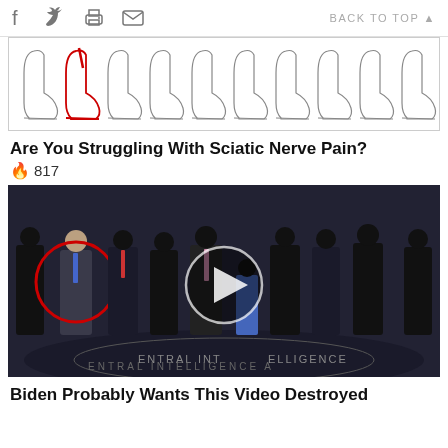f  social icons  BACK TO TOP
[Figure (illustration): Medical illustration of multiple feet/ankles in profile view, with one highlighted in red, showing sciatic nerve pain advertisement]
Are You Struggling With Sciatic Nerve Pain?
🔥 817
[Figure (photo): Photo of a group of men in suits standing in what appears to be the CIA lobby with the CIA seal on the floor. One person on the left is circled in red. A video play button overlay is in the center.]
Biden Probably Wants This Video Destroyed